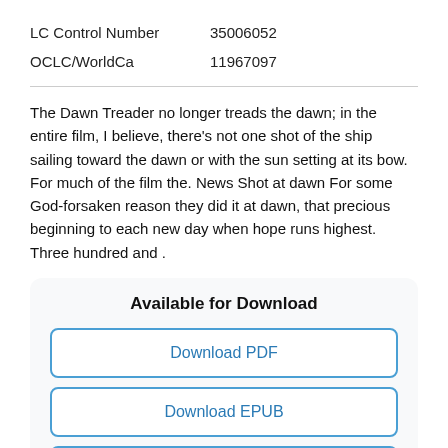| LC Control Number | 35006052 |
| OCLC/WorldCa | 11967097 |
The Dawn Treader no longer treads the dawn; in the entire film, I believe, there's not one shot of the ship sailing toward the dawn or with the sun setting at its bow. For much of the film the. News Shot at dawn For some God-forsaken reason they did it at dawn, that precious beginning to each new day when hope runs highest. Three hundred and .
Available for Download
Download PDF
Download EPUB
Download FB2
Download MOBI
Download TXT